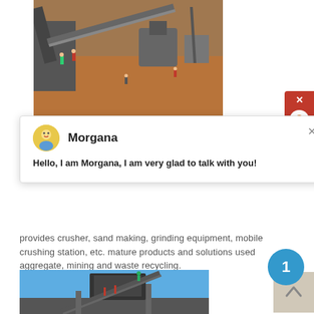[Figure (photo): Aerial view of a mining and crushing site with machinery, conveyors, and workers on orange/red dirt ground]
[Figure (screenshot): Chat popup with avatar of Morgana (customer support agent), showing message: Hello, I am Morgana, I am very glad to talk with you!]
provides crusher, sand making, grinding equipment, mobile crushing station, etc. mature products and solutions used aggregate, mining and waste recycling.
get price
[Figure (photo): Industrial mining equipment with conveyor structure against blue sky]